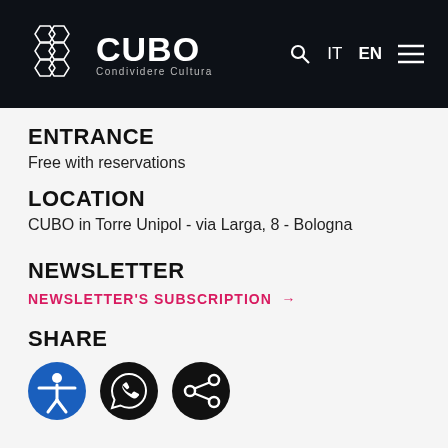CUBO Condividere Cultura — IT EN [menu]
ENTRANCE
Free with reservations
LOCATION
CUBO in Torre Unipol - via Larga, 8 - Bologna
NEWSLETTER
NEWSLETTER'S SUBSCRIPTION →
SHARE
[Figure (infographic): Three circular icon buttons: accessibility icon (blue circle), WhatsApp icon (black circle), share icon (black circle)]